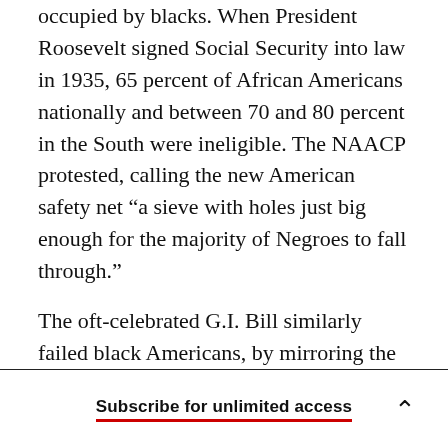occupied by blacks. When President Roosevelt signed Social Security into law in 1935, 65 percent of African Americans nationally and between 70 and 80 percent in the South were ineligible. The NAACP protested, calling the new American safety net “a sieve with holes just big enough for the majority of Negroes to fall through.”
The oft-celebrated G.I. Bill similarly failed black Americans, by mirroring the broader country’s insistence on a racist housing policy. Though ostensibly color-blind, Title III of the bill, which aimed to give veterans access to low-interest home
Subscribe for unlimited access